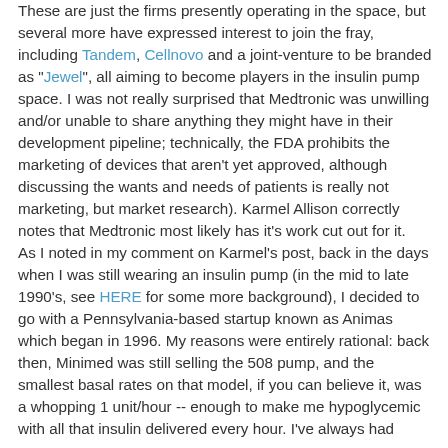These are just the firms presently operating in the space, but several more have expressed interest to join the fray, including Tandem, Cellnovo and a joint-venture to be branded as "Jewel", all aiming to become players in the insulin pump space. I was not really surprised that Medtronic was unwilling and/or unable to share anything they might have in their development pipeline; technically, the FDA prohibits the marketing of devices that aren't yet approved, although discussing the wants and needs of patients is really not marketing, but market research). Karmel Allison correctly notes that Medtronic most likely has it's work cut out for it.
As I noted in my comment on Karmel's post, back in the days when I was still wearing an insulin pump (in the mid to late 1990's, see HERE for some more background), I decided to go with a Pennsylvania-based startup known as Animas which began in 1996. My reasons were entirely rational: back then, Minimed was still selling the 508 pump, and the smallest basal rates on that model, if you can believe it, was a whopping 1 unit/hour -- enough to make me hypoglycemic with all that insulin delivered every hour. I've always had